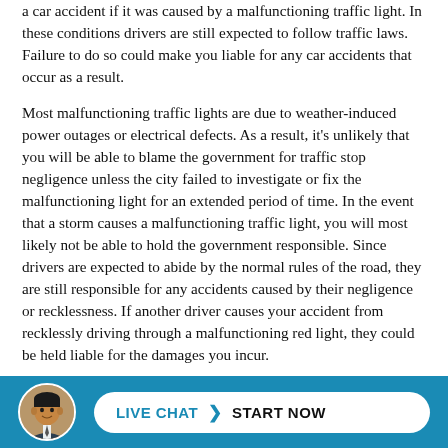a car accident if it was caused by a malfunctioning traffic light. In these conditions drivers are still expected to follow traffic laws. Failure to do so could make you liable for any car accidents that occur as a result.
Most malfunctioning traffic lights are due to weather-induced power outages or electrical defects. As a result, it's unlikely that you will be able to blame the government for traffic stop negligence unless the city failed to investigate or fix the malfunctioning light for an extended period of time. In the event that a storm causes a malfunctioning traffic light, you will most likely not be able to hold the government responsible. Since drivers are expected to abide by the normal rules of the road, they are still responsible for any accidents caused by their negligence or recklessness. If another driver causes your accident from recklessly driving through a malfunctioning red light, they could be held liable for the damages you incur.
[Figure (other): Live chat call-to-action footer bar with a photo of a man in a suit, and a button reading LIVE CHAT > START NOW on a blue background.]